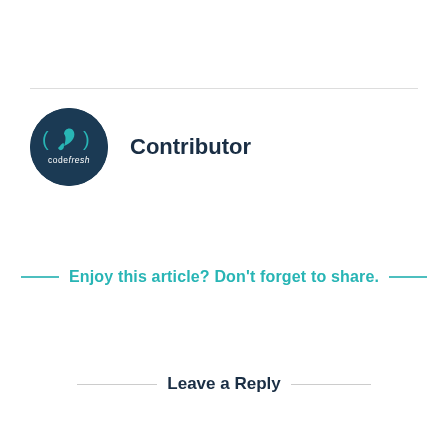[Figure (logo): Codefresh circular dark navy logo with teal leaf/bracket icon and 'codefresh' text]
Contributor
Enjoy this article? Don't forget to share.
Leave a Reply